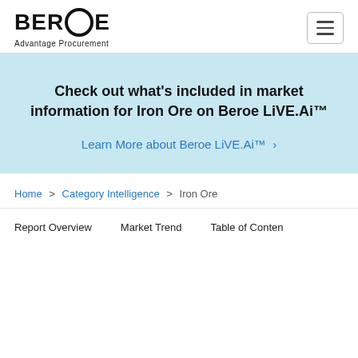[Figure (logo): Beroe Advantage Procurement logo with circular O and hamburger menu icon]
Check out what's included in market information for Iron Ore on Beroe LiVE.Ai™
Learn More about Beroe LiVE.Ai™ ›
Home > Category Intelligence > Iron Ore
Report Overview   Market Trend   Table of Contents